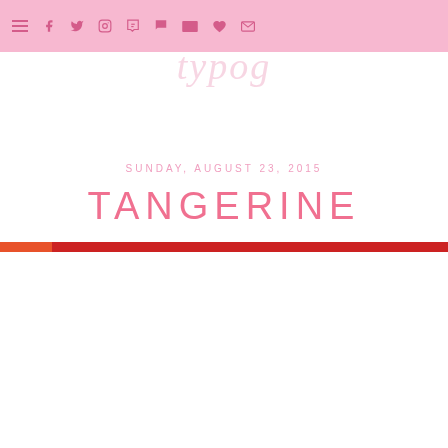Navigation bar with hamburger menu, facebook, twitter, instagram, pinterest, tumblr, youtube, heart, and email icons
typog (faded script text, partially visible)
SUNDAY, AUGUST 23, 2015
TANGERINE
[Figure (other): Horizontal color bar with an orange-red segment on the left and a darker red segment spanning the rest of the width]